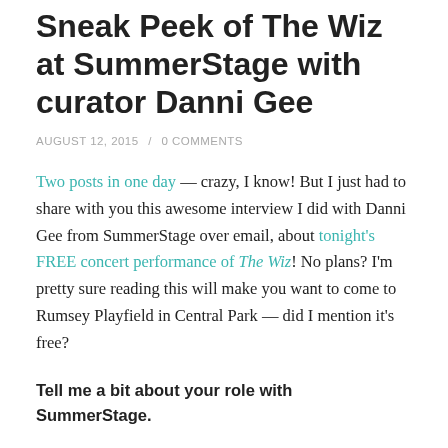Sneak Peek of The Wiz at SummerStage with curator Danni Gee
AUGUST 12, 2015  /  0 COMMENTS
Two posts in one day — crazy, I know! But I just had to share with you this awesome interview I did with Danni Gee from SummerStage over email, about tonight's FREE concert performance of The Wiz! No plans? I'm pretty sure reading this will make you want to come to Rumsey Playfield in Central Park — did I mention it's free?
Tell me a bit about your role with SummerStage.
I am the Dance Curator for the festival and my role is to engage domestic and international dance companies